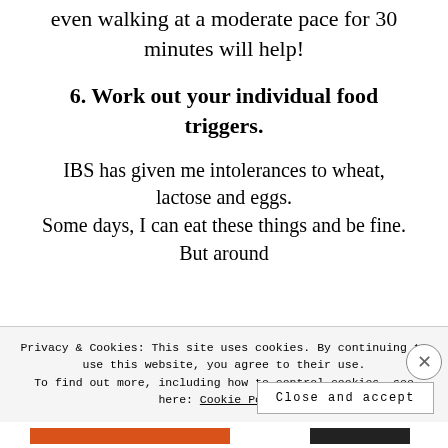even walking at a moderate pace for 30 minutes will help!
6. Work out your individual food triggers.
IBS has given me intolerances to wheat, lactose and eggs. Some days, I can eat these things and be fine. But around
Privacy & Cookies: This site uses cookies. By continuing to use this website, you agree to their use.
To find out more, including how to control cookies, see here: Cookie Policy
Close and accept